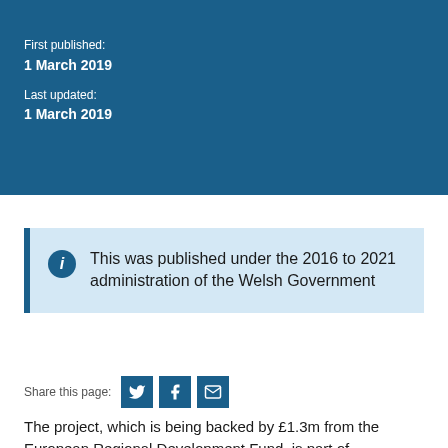First published:
1 March 2019
Last updated:
1 March 2019
This was published under the 2016 to 2021 administration of the Welsh Government
Share this page:
The project, which is being backed by £1.3m from the European Regional Development Fund, is part of...